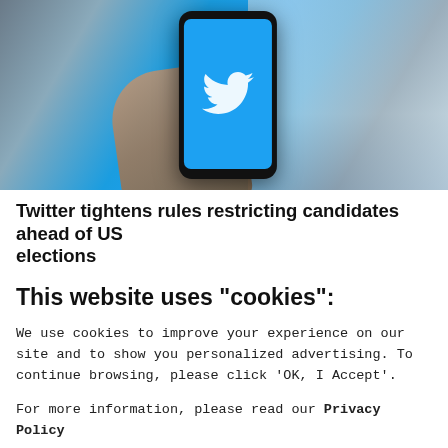[Figure (photo): A hand holding a smartphone displaying the Twitter (blue bird) logo app on a blue screen. Blurred office background visible on the right.]
Twitter tightens rules restricting candidates ahead of US elections
This website uses "cookies":
We use cookies to improve your experience on our site and to show you personalized advertising. To continue browsing, please click ‘OK, I Accept’.
For more information, please read our Privacy Policy
Ok, I Accept